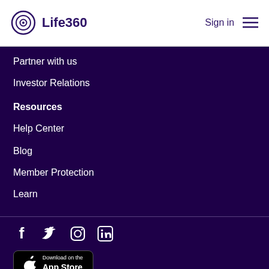Life360  Sign in
Partner with us
Investor Relations
Resources
Help Center
Blog
Member Protection
Learn
[Figure (other): Social media icons: Facebook, Twitter, Instagram, LinkedIn]
[Figure (other): Download on the App Store button]